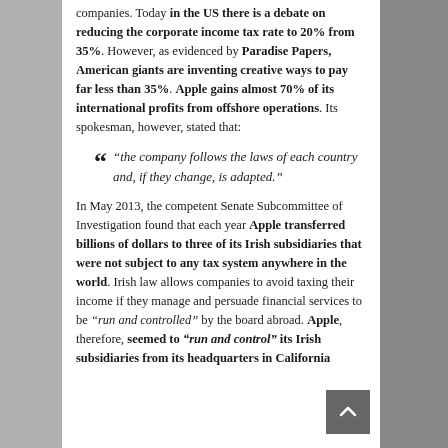companies. Today in the US there is a debate on reducing the corporate income tax rate to 20% from 35%. However, as evidenced by Paradise Papers, American giants are inventing creative ways to pay far less than 35%. Apple gains almost 70% of its international profits from offshore operations. Its spokesman, however, stated that:
“the company follows the laws of each country and, if they change, is adapted.”
In May 2013, the competent Senate Subcommittee of Investigation found that each year Apple transferred billions of dollars to three of its Irish subsidiaries that were not subject to any tax system anywhere in the world. Irish law allows companies to avoid taxing their income if they manage and persuade financial services to be “run and controlled” by the board abroad. Apple, therefore, seemed to “run and control” its Irish subsidiaries from its headquarters in California